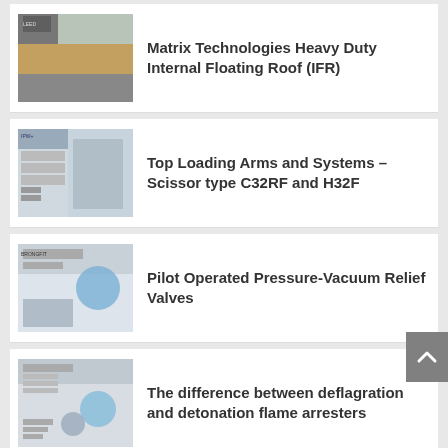Matrix Technologies Heavy Duty Internal Floating Roof (IFR)
Top Loading Arms and Systems – Scissor type C32RF and H32F
Pilot Operated Pressure-Vacuum Relief Valves
The difference between deflagration and detonation flame arresters
RECENT TWEETS
RT @Assentech: We offer #environmental services to help detect, stop and prevent fugitive #emissions 🌍 These include mobile